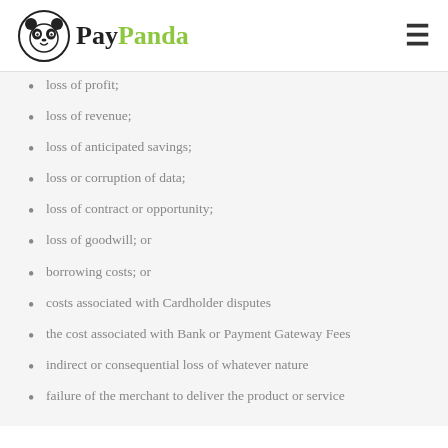PayPanda
loss of profit;
loss of revenue;
loss of anticipated savings;
loss or corruption of data;
loss of contract or opportunity;
loss of goodwill; or
borrowing costs; or
costs associated with Cardholder disputes
the cost associated with Bank or Payment Gateway Fees
indirect or consequential loss of whatever nature
failure of the merchant to deliver the product or service
Paypanda is not liable for any agreement in regards to the terms or conditions of the